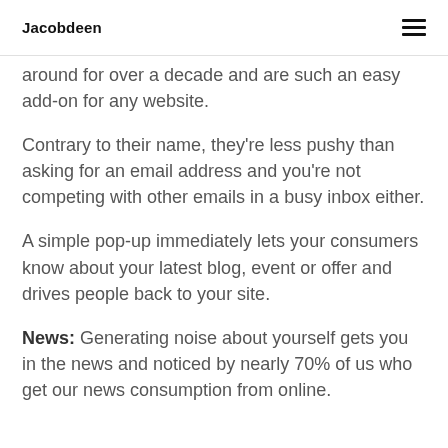Jacobdeen
around for over a decade and are such an easy add-on for any website.
Contrary to their name, they're less pushy than asking for an email address and you're not competing with other emails in a busy inbox either.
A simple pop-up immediately lets your consumers know about your latest blog, event or offer and drives people back to your site.
News: Generating noise about yourself gets you in the news and noticed by nearly 70% of us who get our news consumption from online.